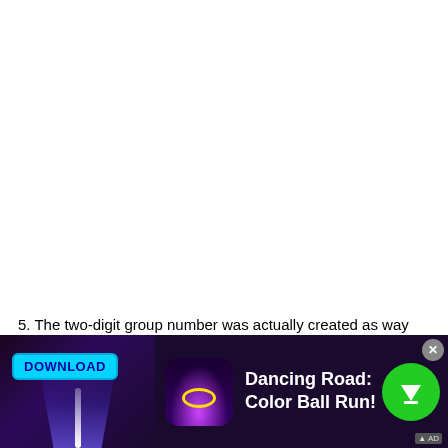5. The two-digit group number was actually created as way
[Figure (screenshot): Mobile advertisement banner for 'Dancing Road: Color Ball Run!' game. Left portion shows a dark purple/black game scene with a glowing beam/road and a DOWNLOAD button in cyan. Center shows the game app icon (purple background with neon ring). Right side shows the game title text in white and a green circular download button. A close (X) button appears in the upper right corner, and an AD label in the lower right.]